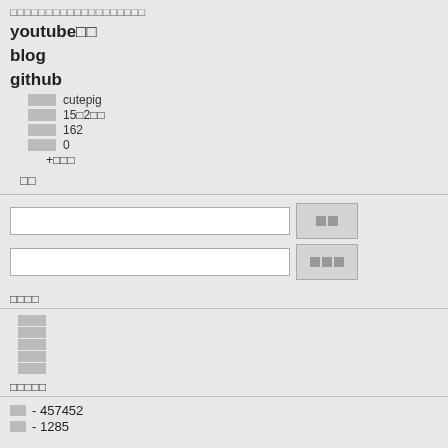□□□□□□□□□□□□□□□□□□□
youtube□□
blog
github
□□□ cutepig
□□□ 15□2□□
□□□ 162
□□□ 0
+□□□
□□
(search input field)
(search input field)
□□□□
□□□□
□□□□
□□□□
□□□□
□□□□
□□□□□
□□ - 457452
□□ - 1285